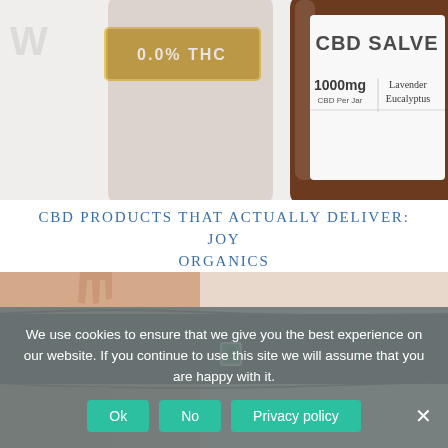[Figure (photo): Close-up of a CBD Salve jar with brown glass, gold label showing '0.0% THC', white label showing 'CBD SALVE', '1000mg CBD Per Jar', 'Lavender Eucalyptus']
CBD PRODUCTS THAT ACTUALLY DELIVER: JOY ORGANICS
[Figure (photo): A person wearing black underwear/shorts with a small green logo tag, showing torso and lower back area against a light background]
We use cookies to ensure that we give you the best experience on our website. If you continue to use this site we will assume that you are happy with it.